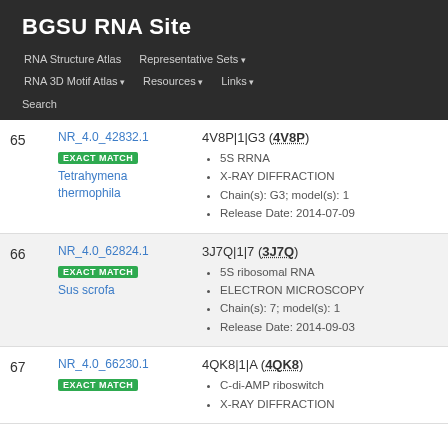BGSU RNA Site
RNA Structure Atlas | Representative Sets ▾ | RNA 3D Motif Atlas ▾ | Resources ▾ | Links ▾ | Search
| # | ID / Match / Species | Structure Details |
| --- | --- | --- |
| 65 | NR_4.0_42832.1 EXACT MATCH Tetrahymena thermophila | 4V8P|1|G3 (4V8P)
• 5S RRNA
• X-RAY DIFFRACTION
• Chain(s): G3; model(s): 1
• Release Date: 2014-07-09 |
| 66 | NR_4.0_62824.1 EXACT MATCH Sus scrofa | 3J7Q|1|7 (3J7Q)
• 5S ribosomal RNA
• ELECTRON MICROSCOPY
• Chain(s): 7; model(s): 1
• Release Date: 2014-09-03 |
| 67 | NR_4.0_66230.1 EXACT MATCH | 4QK8|1|A (4QK8)
• C-di-AMP riboswitch
• X-RAY DIFFRACTION |